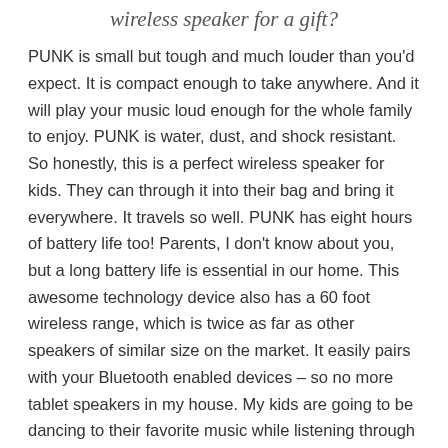wireless speaker for a gift?
PUNK is small but tough and much louder than you'd expect. It is compact enough to take anywhere. And it will play your music loud enough for the whole family to enjoy. PUNK is water, dust, and shock resistant. So honestly, this is a perfect wireless speaker for kids. They can through it into their bag and bring it everywhere. It travels so well. PUNK has eight hours of battery life too! Parents, I don't know about you, but a long battery life is essential in our home. This awesome technology device also has a 60 foot wireless range, which is twice as far as other speakers of similar size on the market. It easily pairs with your Bluetooth enabled devices – so no more tablet speakers in my house. My kids are going to be dancing to their favorite music while listening through the PUNK wireless speaker.